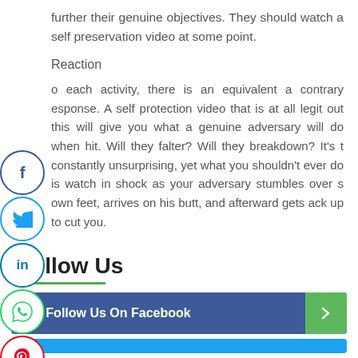further their genuine objectives. They should watch a self preservation video at some point.
Reaction
o each activity, there is an equivalent a contrary esponse. A self protection video that is at all legit out this will give you what a genuine adversary will do when hit. Will they falter? Will they breakdown? It's t constantly unsurprising, yet what you shouldn't ever do is watch in shock as your adversary stumbles over s own feet, arrives on his butt, and afterward gets ack up to cut you.
Follow Us
[Figure (infographic): Follow Us On Facebook button bar with Facebook icon and green arrow button]